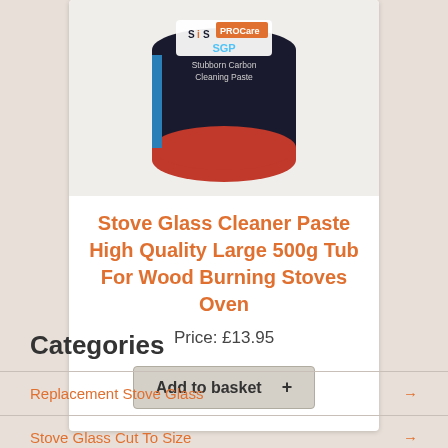[Figure (photo): Product photo of SiS PROCare SGP Stubborn Carbon Cleaning Paste container, dark with red bottom, viewed from slightly above]
Stove Glass Cleaner Paste High Quality Large 500g Tub For Wood Burning Stoves Oven
Price: £13.95
Add to basket +
Categories
Replacement Stove Glass
Stove Glass Cut To Size
Stove Rope Gaskets